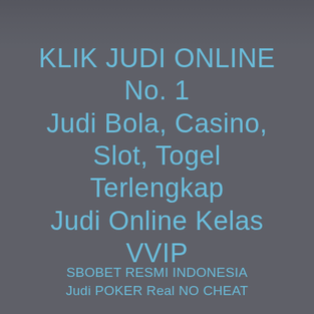[Figure (photo): Dark blurred photo background of a person at the top of the image, with a dark grey semi-transparent overlay covering the entire page.]
KLIK JUDI ONLINE No. 1 Judi Bola, Casino, Slot, Togel Terlengkap Judi Online Kelas VVIP
SBOBET RESMI INDONESIA
Judi POKER Real NO CHEAT